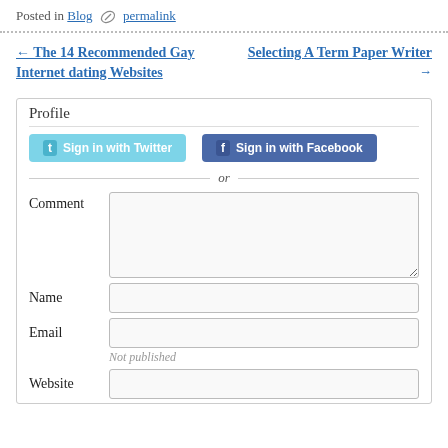Posted in Blog 🖊 permalink
← The 14 Recommended Gay Internet dating Websites    Selecting A Term Paper Writer →
Profile
Sign in with Twitter
Sign in with Facebook
or
Comment
Name
Email
Not published
Website